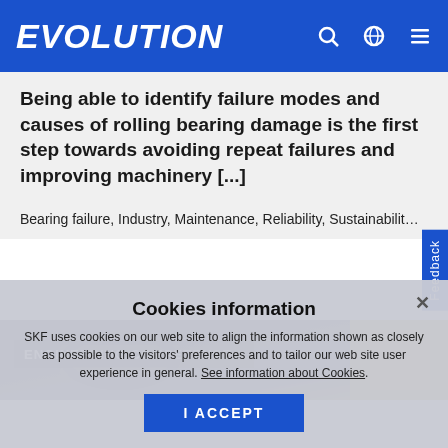EVOLUTION
Being able to identify failure modes and causes of rolling bearing damage is the first step towards avoiding repeat failures and improving machinery [...]
Bearing failure, Industry, Maintenance, Reliability, Sustainability
[Figure (photo): Industrial engineering image showing bearings/machinery with yellow components, labeled ENGINEERING COMPETENCE]
Cookies information

SKF uses cookies on our web site to align the information shown as closely as possible to the visitors' preferences and to tailor our web site user experience in general. See information about Cookies.
I ACCEPT